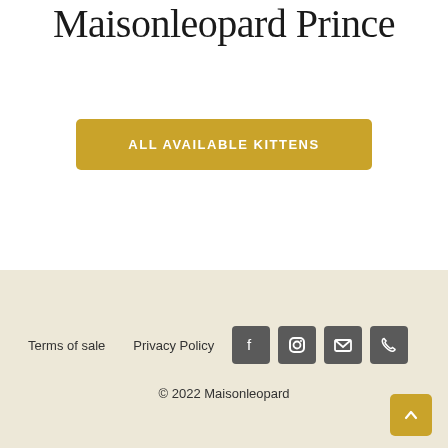Maisonleopard Prince
ALL AVAILABLE KITTENS
Terms of sale   Privacy Policy
© 2022 Maisonleopard